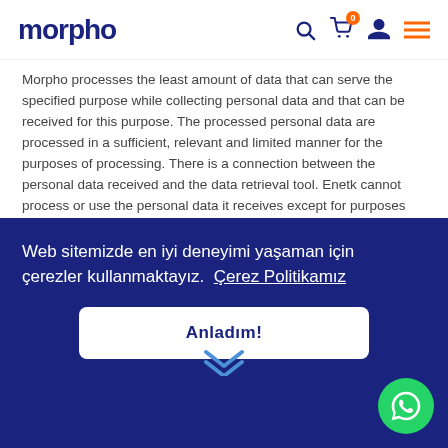morpho
Morpho processes the least amount of data that can serve the specified purpose while collecting personal data and that can be received for this purpose. The processed personal data are processed in a sufficient, relevant and limited manner for the purposes of processing. There is a connection between the personal data received and the data retrieval tool. Enetk cannot process or use the personal data it receives except for purposes that it does not clearly show. In the event that a new data processing purpose arises later or is not compatible with the specified purpose, ...pho ...g to ...s
Web sitemizde en iyi deneyimi yaşaman için çerezler kullanmaktayız. Çerez Politikamız
Anladım!
stored for the period required for the purpose for which they